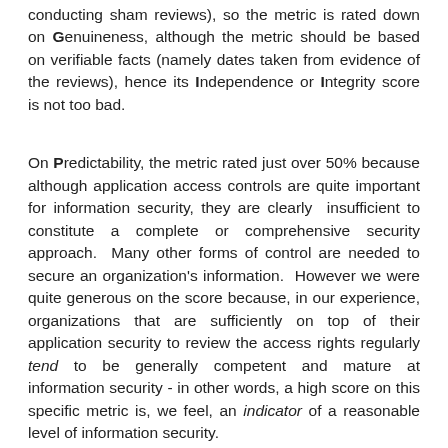conducting sham reviews), so the metric is rated down on Genuineness, although the metric should be based on verifiable facts (namely dates taken from evidence of the reviews), hence its Independence or Integrity score is not too bad.
On Predictability, the metric rated just over 50% because although application access controls are quite important for information security, they are clearly insufficient to constitute a complete or comprehensive security approach. Many other forms of control are needed to secure an organization's information. However we were quite generous on the score because, in our experience, organizations that are sufficiently on top of their application security to review the access rights regularly tend to be generally competent and mature at information security - in other words, a high score on this specific metric is, we feel, an indicator of a reasonable level of information security.
The metric itself is relatively straightforward and simple to understand, hence it scores well for Meaning. It didn't quite